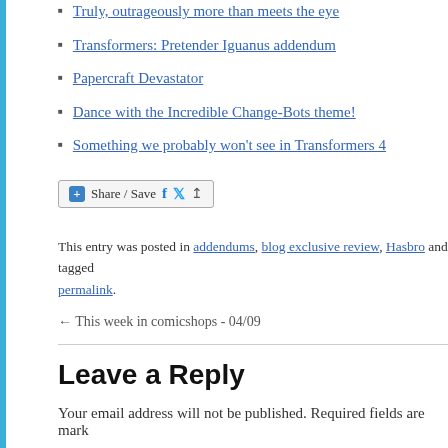Truly, outrageously more than meets the eye
Transformers: Pretender Iguanus addendum
Papercraft Devastator
Dance with the Incredible Change-Bots theme!
Something we probably won't see in Transformers 4
[Figure (other): Share/Save button with Facebook, Twitter, and generic share icons]
This entry was posted in addendums, blog exclusive review, Hasbro and tagged permalink.
← This week in comicshops - 04/09
Leave a Reply
Your email address will not be published. Required fields are marked
Comment *